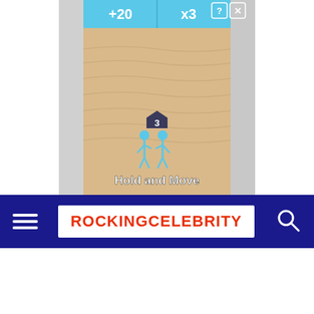[Figure (screenshot): Mobile game advertisement screenshot showing a sandy bowling lane with blue walls, +20 and x3 score indicators at top, two cyan stick figures holding hands labeled 'Hold and Move' with a badge showing '3', and a close button (X) with help icon.]
[Figure (logo): Website navigation bar with dark navy blue background, hamburger menu icon on left, ROCKINGCELEBRITY logo in red bold text on white background in center, and search icon on right.]